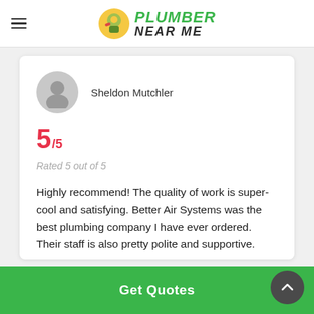Plumber Near Me
Sheldon Mutchler
5/5
Rated 5 out of 5
Highly recommend! The quality of work is super-cool and satisfying. Better Air Systems was the best plumbing company I have ever ordered. Their staff is also pretty polite and supportive.
Get Quotes